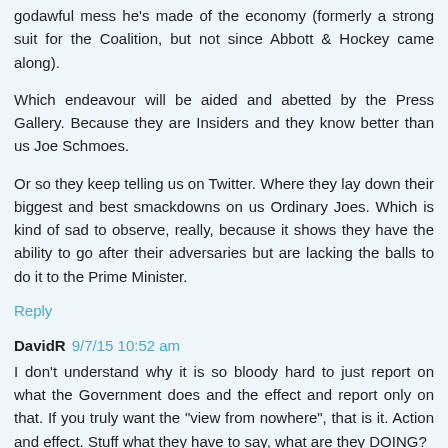godawful mess he's made of the economy (formerly a strong suit for the Coalition, but not since Abbott & Hockey came along).
Which endeavour will be aided and abetted by the Press Gallery. Because they are Insiders and they know better than us Joe Schmoes.
Or so they keep telling us on Twitter. Where they lay down their biggest and best smackdowns on us Ordinary Joes. Which is kind of sad to observe, really, because it shows they have the ability to go after their adversaries but are lacking the balls to do it to the Prime Minister.
Reply
DavidR 9/7/15 10:52 am
I don't understand why it is so bloody hard to just report on what the Government does and the effect and report only on that. If you truly want the "view from nowhere", that is it. Action and effect. Stuff what they have to say, what are they DOING?